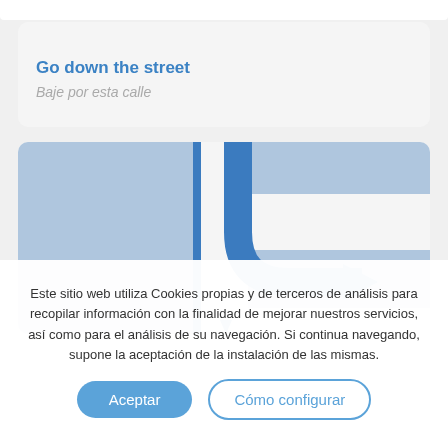Go down the street
Baje por esta calle
[Figure (illustration): Navigation diagram showing a turn-right arrow at an intersection, with blue road blocks indicating streets]
Este sitio web utiliza Cookies propias y de terceros de análisis para recopilar información con la finalidad de mejorar nuestros servicios, así como para el análisis de su navegación. Si continua navegando, supone la aceptación de la instalación de las mismas.
Aceptar
Cómo configurar